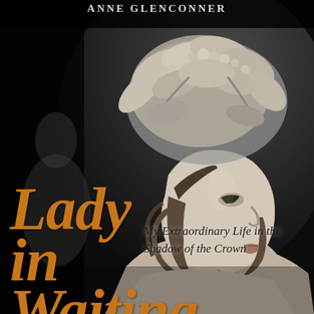[Figure (photo): Black and white photograph of an elegant woman in profile view, wearing an elaborate floral/leaf headdress, smiling, shown from shoulders up against a dark background. This is a book cover image.]
Lady in Waiting
My Extraordinary Life in the Shadow of the Crown